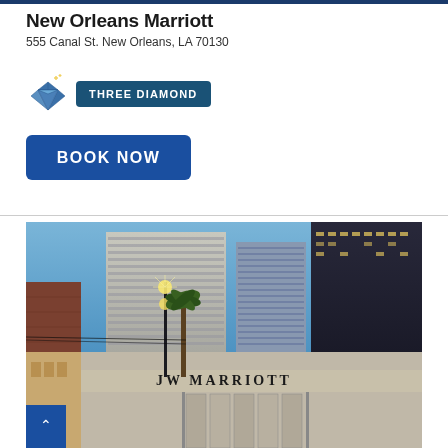New Orleans Marriott
555 Canal St. New Orleans, LA 70130
[Figure (logo): Three Diamond badge with diamond gemstone icon and teal/navy background label reading THREE DIAMOND]
BOOK NOW
[Figure (photo): Exterior nighttime photo of JW Marriott hotel in New Orleans with tall glass buildings behind and street lamp with palm tree in foreground]